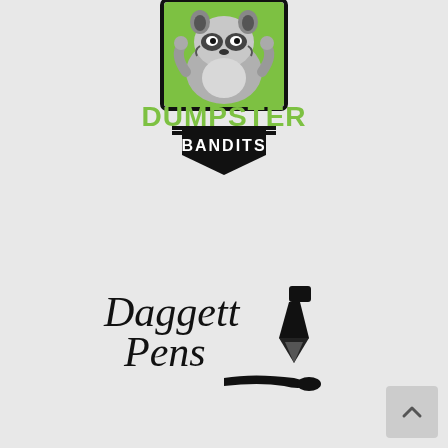[Figure (logo): Dumpster Bandits logo: a cartoon raccoon on a green square background above the text DUMPSTER in large green letters and BANDITS on a black shield/badge shape]
[Figure (logo): Daggett Pens logo: cursive/script black text reading 'Daggett Pens' with a fountain pen icon to the right and an ink stroke/underline]